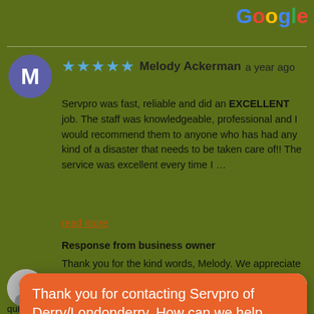[Figure (logo): Google logo in top right corner with multicolor letters]
[Figure (illustration): Purple circle avatar with white letter M for reviewer Melody Ackerman]
★★★★★ Melody Ackerman a year ago
Servpro was fast, reliable and did an EXCELLENT job. The staff was knowledgeable, professional and I would recommend them to anyone who has had any kind of a disaster that needs to be taken care of!! The service was excellent every time I …
read more
Response from business owner
Thank you for the kind words, Melody. We appreciate the opportunity to work with you.
via
[Figure (screenshot): Chat popup widget: orange header saying 'Thank you for contacting Servpro of Derry/Londonderry. How can we help you?' with white input area and 'Write your message...' placeholder]
quickly... Very professional!!!! Excellente customer service